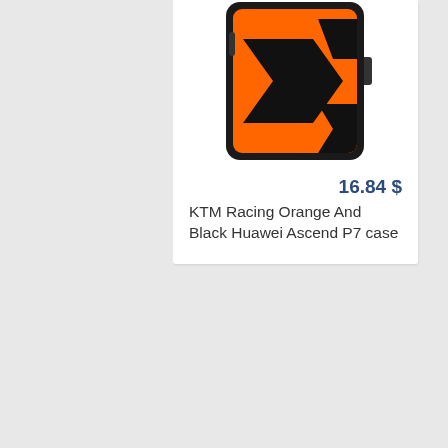[Figure (photo): Phone case product image showing KTM Racing Orange and Black design on a smartphone case, orange background with black arrow/logo design visible on screen]
16.84 $
KTM Racing Orange And Black Huawei Ascend P7 case
[Figure (photo): Phone case product image showing a black and white photo of a man smoking a cigarette on a smartphone case, second product listing]